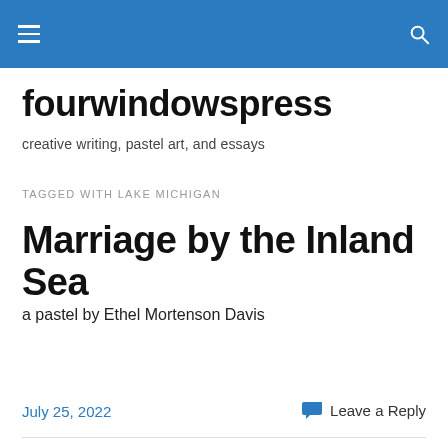fourwindowspress [hamburger menu and search icon]
fourwindowspress
creative writing, pastel art, and essays
TAGGED WITH LAKE MICHIGAN
Marriage by the Inland Sea
a pastel by Ethel Mortenson Davis
July 25, 2022
Leave a Reply